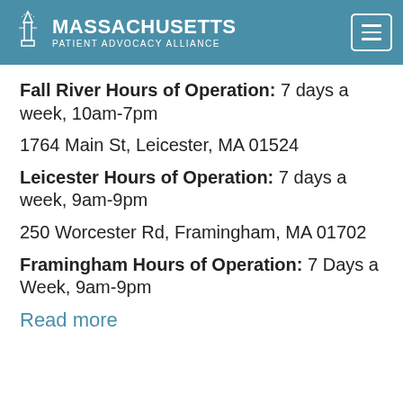Massachusetts Patient Advocacy Alliance
Fall River Hours of Operation: 7 days a week, 10am-7pm
1764 Main St, Leicester, MA 01524
Leicester Hours of Operation: 7 days a week, 9am-9pm
250 Worcester Rd, Framingham, MA 01702
Framingham Hours of Operation: 7 Days a Week, 9am-9pm
Read more